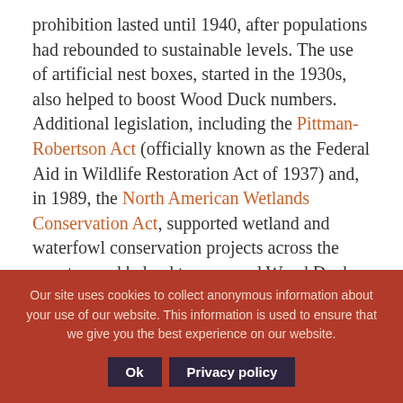prohibition lasted until 1940, after populations had rebounded to sustainable levels. The use of artificial nest boxes, started in the 1930s, also helped to boost Wood Duck numbers. Additional legislation, including the Pittman-Robertson Act (officially known as the Federal Aid in Wildlife Restoration Act of 1937) and, in 1989, the North American Wetlands Conservation Act, supported wetland and waterfowl conservation projects across the country, and helped turn around Wood Duck populations.
Tree Duck
Our site uses cookies to collect anonymous information about your use of our website. This information is used to ensure that we give you the best experience on our website.